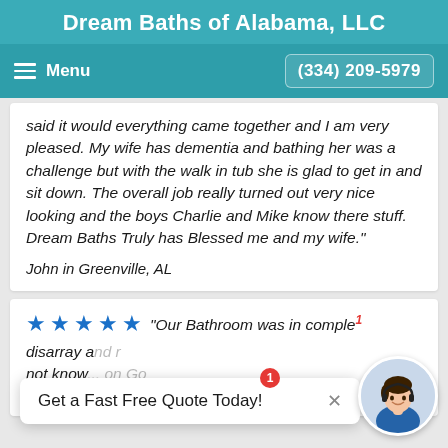Dream Baths of Alabama, LLC
Menu   (334) 209-5979
said it would everything came together and I am very pleased. My wife has dementia and bathing her was a challenge but with the walk in tub she is glad to get in and sit down. The overall job really turned out very nice looking and the boys Charlie and Mike know there stuff. Dream Baths Truly has Blessed me and my wife."
John in Greenville, AL
★★★★★ "Our Bathroom was in complete disarray and r... not know... on Go... and gave them a call. We set a day for the owner,
Get a Fast Free Quote Today!